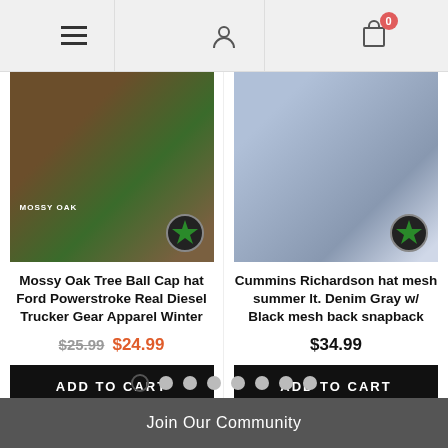Navigation bar with hamburger menu, user icon, and cart with 0 items
[Figure (photo): Mossy Oak Tree Ball Cap hat with camo pattern and green logo badge]
Mossy Oak Tree Ball Cap hat Ford Powerstroke Real Diesel Trucker Gear Apparel Winter
$25.99  $24.99
ADD TO CART
[Figure (photo): Cummins Richardson hat in light denim gray with black mesh back snapback and green logo badge]
Cummins Richardson hat mesh summer lt. Denim Gray w/ Black mesh back snapback
$34.99
ADD TO CART
Pagination dots: 8 dots with first dot active
Join Our Community